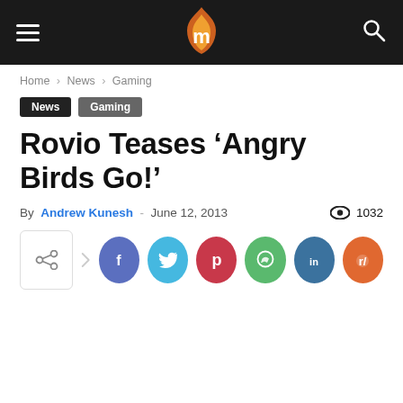Site header with hamburger menu, logo, and search icon
Home › News › Gaming
News  Gaming
Rovio Teases ‘Angry Birds Go!’
By Andrew Kunesh - June 12, 2013   1032
[Figure (other): Social share bar with share box and icons for Facebook, Twitter, Pinterest, WhatsApp, LinkedIn, Reddit]